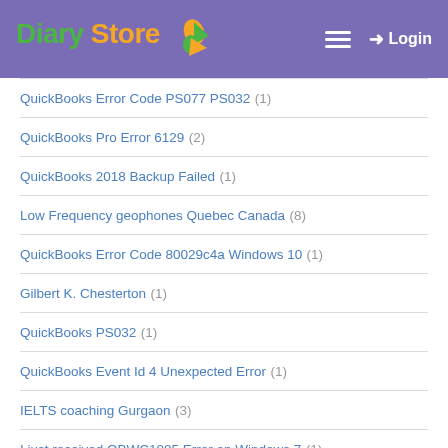Diary Store — Login
QuickBooks Error Code PS077 PS032 (1)
QuickBooks Pro Error 6129 (2)
QuickBooks 2018 Backup Failed (1)
Low Frequency geophones Quebec Canada (8)
QuickBooks Error Code 80029c4a Windows 10 (1)
Gilbert K. Chesterton (1)
QuickBooks PS032 (1)
QuickBooks Event Id 4 Unexpected Error (1)
IELTS coaching Gurgaon (3)
I just received QBWC1085 Error on Windows 7 (1)
QuickBooks error 390 (1)
QuickBooks Desktop Error 15215 (1)